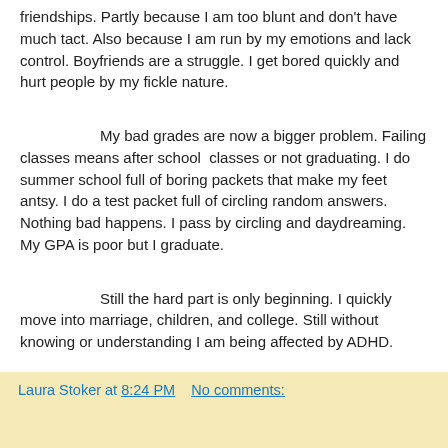friendships. Partly because I am too blunt and don't have much tact. Also because I am run by my emotions and lack control. Boyfriends are a struggle. I get bored quickly and hurt people by my fickle nature.
My bad grades are now a bigger problem. Failing classes means after school  classes or not graduating. I do summer school full of boring packets that make my feet antsy. I do a test packet full of circling random answers. Nothing bad happens. I pass by circling and daydreaming. My GPA is poor but I graduate.
Still the hard part is only beginning. I quickly move into marriage, children, and college. Still without knowing or understanding I am being affected by ADHD.
Laura Stoker at 8:24 PM   No comments: